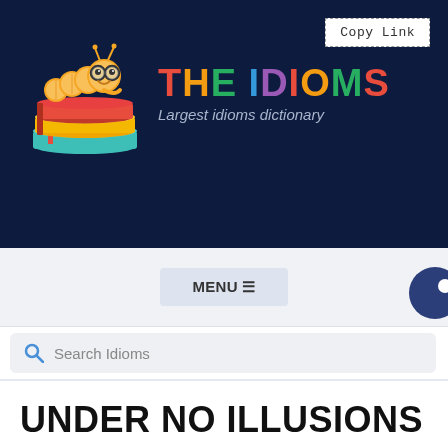[Figure (logo): The Idioms website logo: cartoon worm with glasses sitting on a stack of colorful books, with colorful text 'THE IDIOMS' and subtitle 'Largest idioms dictionary' on a dark navy background]
Copy Link
MENU ≡
Search Idioms
UNDER NO ILLUSIONS